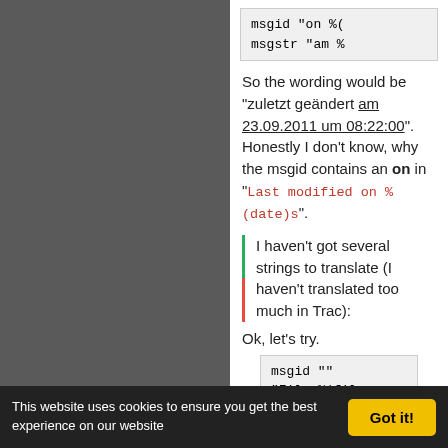msgid "on %(
msgstr "am %
So the wording would be "zuletzt geändert am 23.09.2011 um 08:22:00". Honestly I don't know, why the msgid contains an on in "Last modified on %(date)s".
I haven't got several strings to translate (I haven't translated too much in Trac):
Ok, let's try.
msgid ""
"File %(fil
"
This website uses cookies to ensure you get the best experience on our website
Got it!